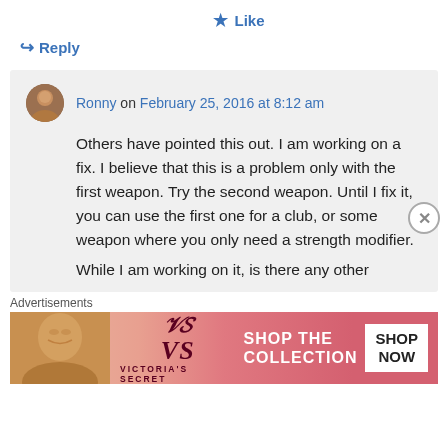★ Like
↪ Reply
Ronny on February 25, 2016 at 8:12 am
Others have pointed this out. I am working on a fix. I believe that this is a problem only with the first weapon. Try the second weapon. Until I fix it, you can use the first one for a club, or some weapon where you only need a strength modifier.
While I am working on it, is there any other
Advertisements
[Figure (photo): Victoria's Secret advertisement banner with model and 'SHOP THE COLLECTION / SHOP NOW' text]